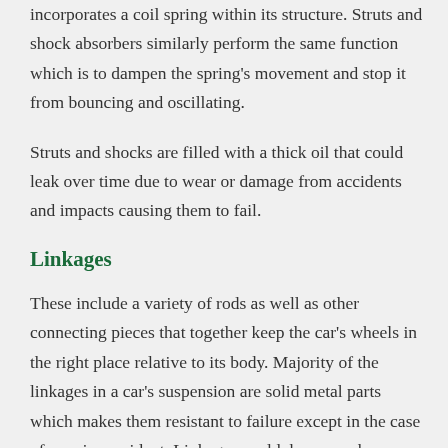incorporates a coil spring within its structure. Struts and shock absorbers similarly perform the same function which is to dampen the spring's movement and stop it from bouncing and oscillating.
Struts and shocks are filled with a thick oil that could leak over time due to wear or damage from accidents and impacts causing them to fail.
Linkages
These include a variety of rods as well as other connecting pieces that together keep the car's wheels in the right place relative to its body. Majority of the linkages in a car's suspension are solid metal parts which makes them resistant to failure except in the case of a major accident. Linkages could, however, have